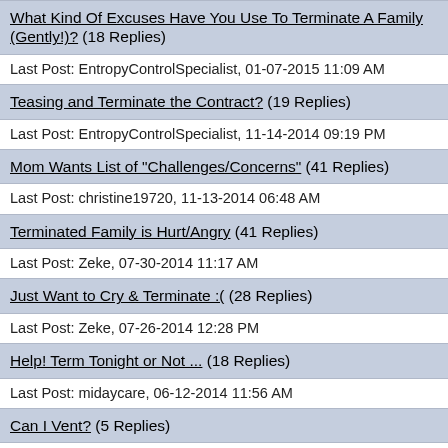What Kind Of Excuses Have You Use To Terminate A Family (Gently!)? (18 Replies)
Last Post: EntropyControlSpecialist, 01-07-2015 11:09 AM
Teasing and Terminate the Contract? (19 Replies)
Last Post: EntropyControlSpecialist, 11-14-2014 09:19 PM
Mom Wants List of "Challenges/Concerns" (41 Replies)
Last Post: christine19720, 11-13-2014 06:48 AM
Terminated Family is Hurt/Angry (41 Replies)
Last Post: Zeke, 07-30-2014 11:17 AM
Just Want to Cry & Terminate :( (28 Replies)
Last Post: Zeke, 07-26-2014 12:28 PM
Help! Term Tonight or Not ... (18 Replies)
Last Post: midaycare, 06-12-2014 11:56 AM
Can I Vent? (5 Replies)
Last Post: Mom2TLE, 04-15-2014 01:40 PM
Please Help! How Do I Term This Family? :( (15 Replies)
Last Post: EntropyControlSpecialist, 04-11-2014 09:15 PM
Life is Getting Easier (2 Replies)
Last Post: Ilpa, 04-11-2014 05:57 AM